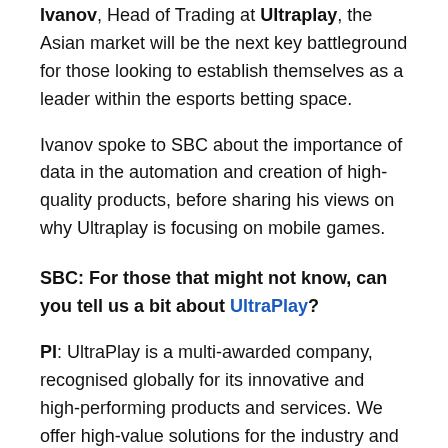Ivanov, Head of Trading at Ultraplay, the Asian market will be the next key battleground for those looking to establish themselves as a leader within the esports betting space.
Ivanov spoke to SBC about the importance of data in the automation and creation of high-quality products, before sharing his views on why Ultraplay is focusing on mobile games.
SBC: For those that might not know, can you tell us a bit about UltraPlay?
PI: UltraPlay is a multi-awarded company, recognised globally for its innovative and high-performing products and services. We offer high-value solutions for the industry and our partners around the world are proof of our exceptional work.  We focus on sports and esports pre-match and live betting, fast markets, AI-powered machine-learning algorithms, white-label, online casino, and blockchain technology. But we are well known as an